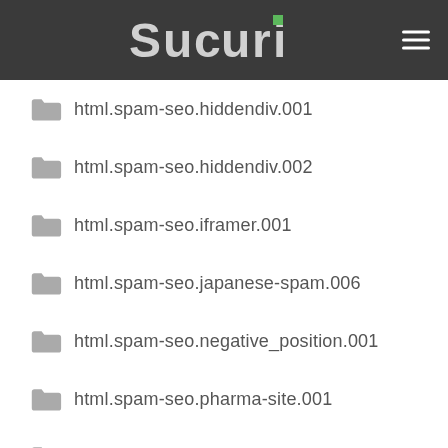[Figure (logo): Sucuri logo in white/grey on dark background header]
html.spam-seo.hiddendiv.001
html.spam-seo.hiddendiv.002
html.spam-seo.iframer.001
html.spam-seo.japanese-spam.006
html.spam-seo.negative_position.001
html.spam-seo.pharma-site.001
html.spam-seo.redirect.001
html.spam-seo.redirect.002
html.spam-seo.redirect.005
image.html.code.001